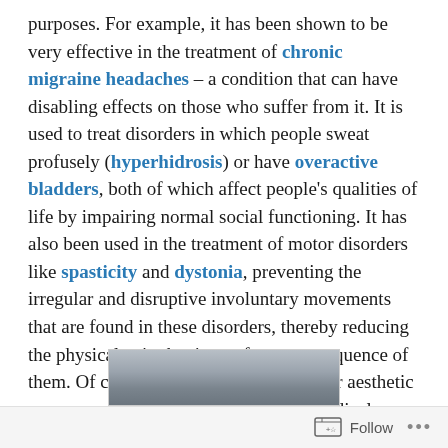purposes. For example, it has been shown to be very effective in the treatment of chronic migraine headaches – a condition that can have disabling effects on those who suffer from it. It is used to treat disorders in which people sweat profusely (hyperhidrosis) or have overactive bladders, both of which affect people's qualities of life by impairing normal social functioning. It has also been used in the treatment of motor disorders like spasticity and dystonia, preventing the irregular and disruptive involuntary movements that are found in these disorders, thereby reducing the physical pain that is so often a consequence of them. Of course, it has also been used for aesthetic reasons, an arguably less compelling medical use.
[Figure (photo): A partial photograph of a medical or scientific object, shown at the bottom of the page, partially cropped.]
Follow